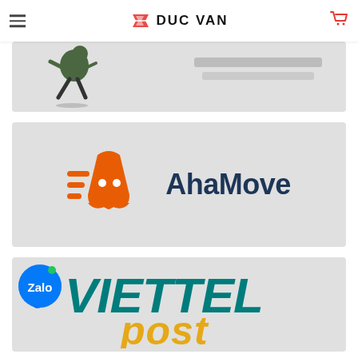DUC VAN
[Figure (logo): Partially visible banner with running cartoon character and blurred text]
[Figure (logo): AhaMove delivery service logo on grey background - orange ghost/helmet character and dark blue AhaMove text]
[Figure (logo): Viettel Post logo with Zalo blue chat bubble overlay on grey background]